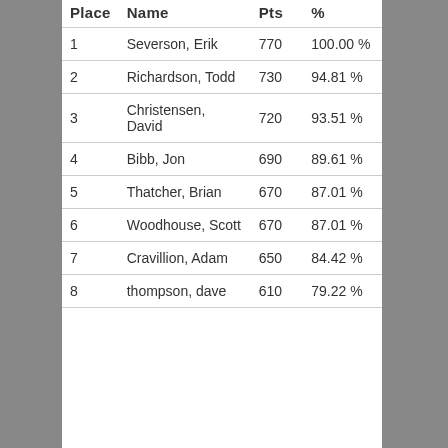| Place | Name | Pts | % |
| --- | --- | --- | --- |
| 1 | Severson, Erik | 770 | 100.00 % |
| 2 | Richardson, Todd | 730 | 94.81 % |
| 3 | Christensen, David | 720 | 93.51 % |
| 4 | Bibb, Jon | 690 | 89.61 % |
| 5 | Thatcher, Brian | 670 | 87.01 % |
| 6 | Woodhouse, Scott | 670 | 87.01 % |
| 7 | Cravillion, Adam | 650 | 84.42 % |
| 8 | thompson, dave | 610 | 79.22 % |